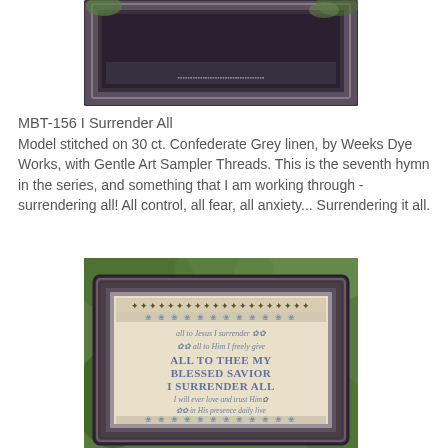[Figure (photo): Top portion of a framed cross-stitch sampler with a dark ornate frame, partially cut off at top, set against an outdoor background with green foliage.]
MBT-156 I Surrender All
Model stitched on 30 ct. Confederate Grey linen, by Weeks Dye Works, with Gentle Art Sampler Threads. This is the seventh hymn in the series, and something that I am working through - surrendering all! All control, all fear, all anxiety... Surrendering it all.
[Figure (photo): A framed cross-stitch sampler in a dark wooden frame set outdoors among green leaves. The sampler features decorative borders and hymn text: 'all to Jesus I surrender', 'all to Him I freely give', 'ALL TO THEE MY BLESSED SAVIOR I SURRENDER ALL', 'I will ever love and trust Him', 'in His presence daily live', with floral cross-stitch decorative borders.]